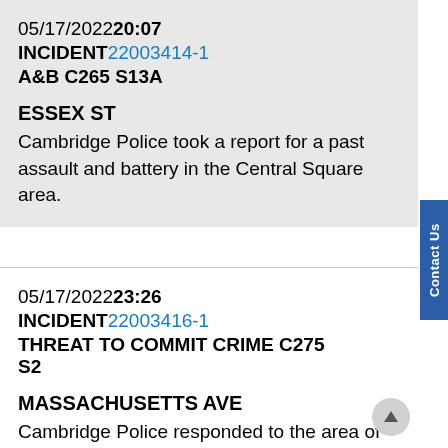05/17/2022 20:07
INCIDENT 22003414-1
A&B C265 S13A
ESSEX ST
Cambridge Police took a report for a past assault and battery in the Central Square area.
05/17/2022 23:26
INCIDENT 22003416-1
THREAT TO COMMIT CRIME C275 S2
MASSACHUSETTS AVE
Cambridge Police responded to the area of Massachusetts Avenue for a report of a disturbance involving a group outside a bar and